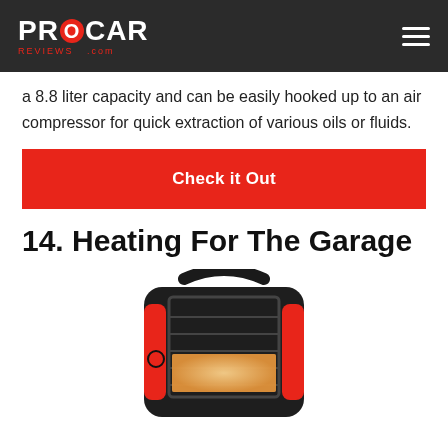PROCAR REVIEWS.com
a 8.8 liter capacity and can be easily hooked up to an air compressor for quick extraction of various oils or fluids.
[Figure (other): Red 'Check it Out' button]
14. Heating For The Garage
[Figure (photo): Photo of a portable red and black infrared garage heater with a wire guard and carrying handle]